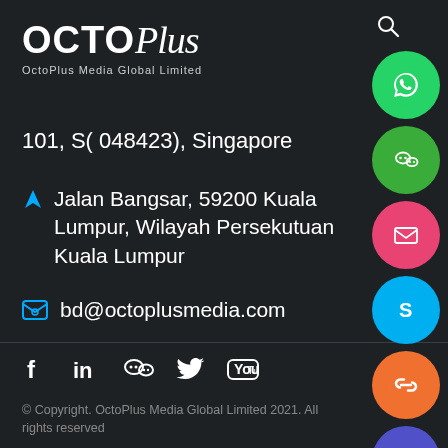[Figure (logo): OctoPlus logo with tagline 'OctoPlus Media Global Limited']
101, S( 048423), Singapore
Jalan Bangsar, 59200 Kuala Lumpur, Wilayah Persekutuan Kuala Lumpur
bd@octoplusmedia.com
[Figure (infographic): Social media icon buttons on right side: WhatsApp (green), WeChat (green), Email (pink/red), Skype (blue), Link (orange), Close X (purple/blue)]
[Figure (infographic): Bottom social media icons: Facebook, LinkedIn, WeChat, Twitter, YouTube]
© Copyright. OctoPlus Media Global Limited 2021. All rights reserved